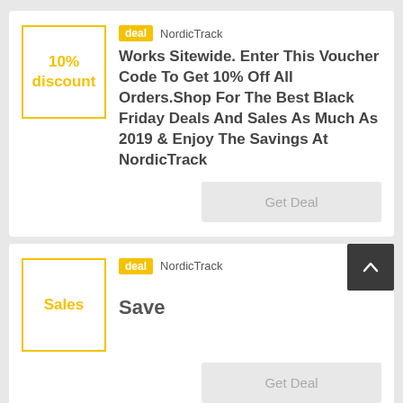10% discount
deal  NordicTrack
Works Sitewide. Enter This Voucher Code To Get 10% Off All Orders.Shop For The Best Black Friday Deals And Sales As Much As 2019 & Enjoy The Savings At NordicTrack
Get Deal
Sales
deal  NordicTrack
Save
Get Deal